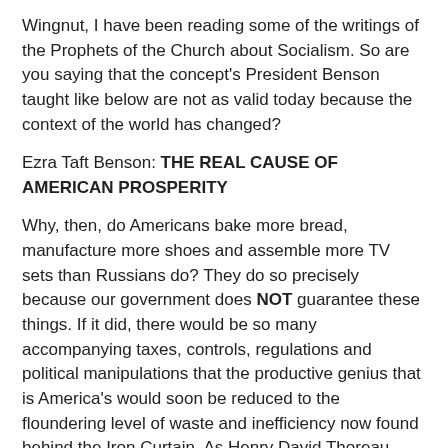Wingnut, I have been reading some of the writings of the Prophets of the Church about Socialism. So are you saying that the concept's President Benson taught like below are not as valid today because the context of the world has changed?
Ezra Taft Benson: THE REAL CAUSE OF AMERICAN PROSPERITY
Why, then, do Americans bake more bread, manufacture more shoes and assemble more TV sets than Russians do? They do so precisely because our government does NOT guarantee these things. If it did, there would be so many accompanying taxes, controls, regulations and political manipulations that the productive genius that is America's would soon be reduced to the floundering level of waste and inefficiency now found behind the Iron Curtain. As Henry David Thoreau explained:
"This government never of itself furthered any enterprise, but by the alacrity with which it got out of its way. IT does not educate. THE CHARACTER INHERENT IN THE AMERICAN PEOPLE HAS DONE ALL THAT HAS BEEN ACCOMPLISHED;